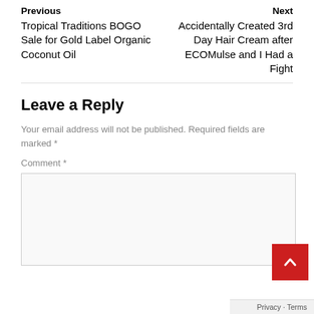Previous
Tropical Traditions BOGO Sale for Gold Label Organic Coconut Oil
Next
Accidentally Created 3rd Day Hair Cream after ECOMulse and I Had a Fight
Leave a Reply
Your email address will not be published. Required fields are marked *
Comment *